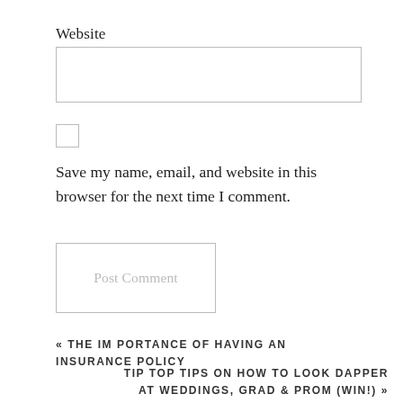Website
[Figure (other): Empty text input box for Website field]
[Figure (other): Unchecked checkbox]
Save my name, email, and website in this browser for the next time I comment.
[Figure (other): Post Comment button with light gray border and light gray text]
« THE IMPORTANCE OF HAVING AN INSURANCE POLICY
TIP TOP TIPS ON HOW TO LOOK DAPPER AT WEDDINGS, GRAD & PROM (WIN!) »